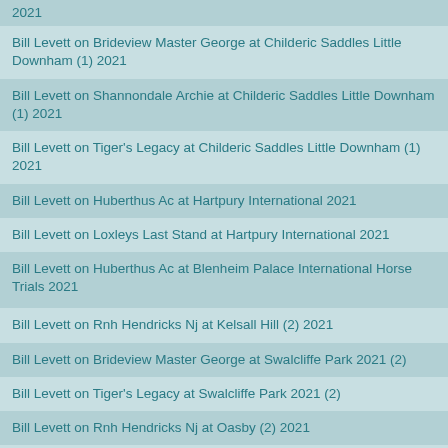2021
Bill Levett on Brideview Master George at Childeric Saddles Little Downham (1) 2021
Bill Levett on Shannondale Archie at Childeric Saddles Little Downham (1) 2021
Bill Levett on Tiger's Legacy at Childeric Saddles Little Downham (1) 2021
Bill Levett on Huberthus Ac at Hartpury International 2021
Bill Levett on Loxleys Last Stand at Hartpury International 2021
Bill Levett on Huberthus Ac at Blenheim Palace International Horse Trials 2021
Bill Levett on Rnh Hendricks Nj at Kelsall Hill (2) 2021
Bill Levett on Brideview Master George at Swalcliffe Park 2021 (2)
Bill Levett on Tiger's Legacy at Swalcliffe Park 2021 (2)
Bill Levett on Rnh Hendricks Nj at Oasby (2) 2021
Bill Levett on Shannondale Archie at Oasby (1) 2022
Bill Levett on Lassban Diamond Lift at Oasby (1) 2022
Bill Levett on Sligo Candy Cane at Oasby (1) 2022
Bill Levett on Rnh Tom Tom R at Oasby (1) 2022
Bill Levett on Lates Quin at Oasby (1) 2022